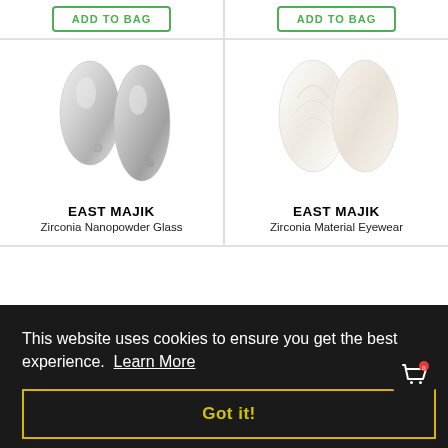[Figure (other): ADD TO BAG button (green outlined) for left product]
[Figure (other): ADD TO BAG button (green outlined) for right product]
[Figure (photo): Two silver metallic teardrop-shaped objects (Zirconia Nanopowder Glass) side by side]
EAST MAJIK
Zirconia Nanopowder Glass
[Figure (photo): Two white/cream colored teardrop-shaped objects (Zirconia Material Eyewear) side by side]
EAST MAJIK
Zirconia Material Eyewear
This website uses cookies to ensure you get the best experience.  Learn More
Got it!
[Figure (other): Shopping bag cart icon with red badge showing 0, in black circle]
[Figure (photo): Partially visible silver/dark product images at bottom of page]